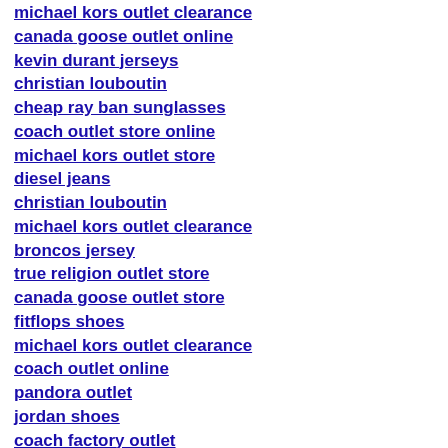michael kors outlet clearance
canada goose outlet online
kevin durant jerseys
christian louboutin
cheap ray ban sunglasses
coach outlet store online
michael kors outlet store
diesel jeans
christian louboutin
michael kors outlet clearance
broncos jersey
true religion outlet store
canada goose outlet store
fitflops shoes
michael kors outlet clearance
coach outlet online
pandora outlet
jordan shoes
coach factory outlet
canada goose jackets